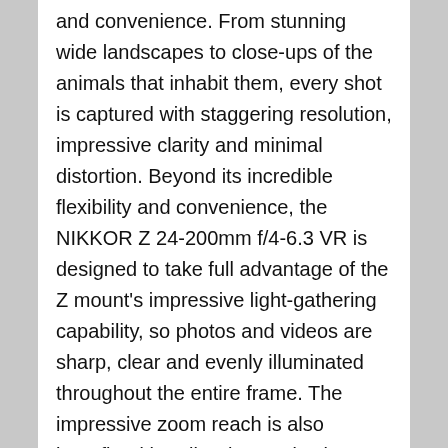and convenience. From stunning wide landscapes to close-ups of the animals that inhabit them, every shot is captured with staggering resolution, impressive clarity and minimal distortion. Beyond its incredible flexibility and convenience, the NIKKOR Z 24-200mm f/4-6.3 VR is designed to take full advantage of the Z mount's impressive light-gathering capability, so photos and videos are sharp, clear and evenly illuminated throughout the entire frame. The impressive zoom reach is also benefitted by Vibration Reduction image stabilization, which minimizes the appearance of camera shake by up to 5 stops for sharper handheld shooting. A stepping motor provides quick, quiet, and precise autofocus performance along with full-time manual focus